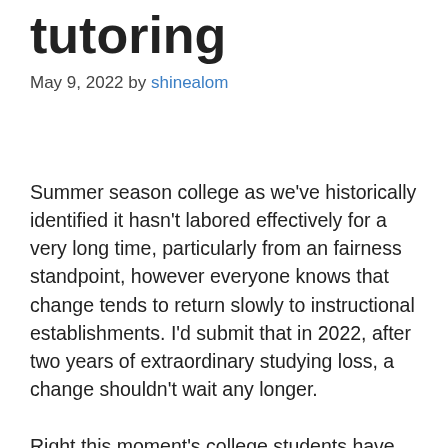tutoring
May 9, 2022 by shinealom
Summer season college as we've historically identified it hasn't labored effectively for a very long time, particularly from an fairness standpoint, however everyone knows that change tends to return slowly to instructional establishments. I'd submit that in 2022, after two years of extraordinary studying loss, a change shouldn't wait any longer.
Right this moment's college students have totally different summer season studying